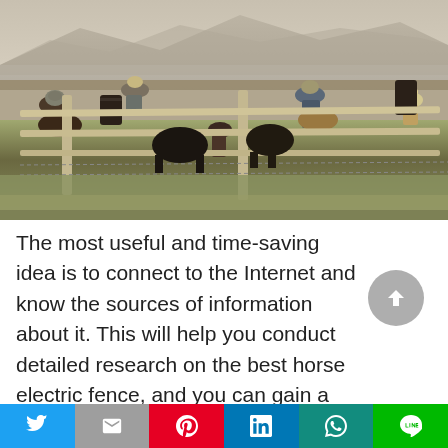[Figure (photo): Cowboys on horseback and on foot gathered near a wooden fence on a ranch, with mountains and open landscape in the background.]
The most useful and time-saving idea is to connect to the Internet and know the sources of information about it. This will help you conduct detailed research on the best horse electric fence, and you can gain a wealth of knowledge found in the corner
Twitter | Mail | Pinterest | LinkedIn | WhatsApp | Line